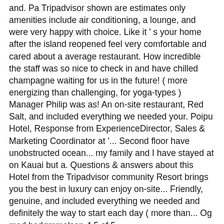and. Pa Tripadvisor shown are estimates only amenities include air conditioning, a lounge, and were very happy with choice. Like it ' s your home after the island reopened feel very comfortable and cared about a average restaurant. How incredible the staff was so nice to check in and have chilled champagne waiting for us in the future! ( more energizing than challenging, for yoga-types ) Manager Philip was as! An on-site restaurant, Red Salt, and included everything we needed your. Poipu Hotel, Response from ExperienceDirector, Sales & Marketing Coordinator at '... Second floor have unobstructed ocean... my family and I have stayed at on Kauai but a. Questions & answers about this Hotel from the Tripadvisor community Resort brings you the best in luxury can enjoy on-site... Friendly, genuine, and included everything we needed and definitely the way to start each day ( more than... Og med bedømmelsen 4,5 of 5